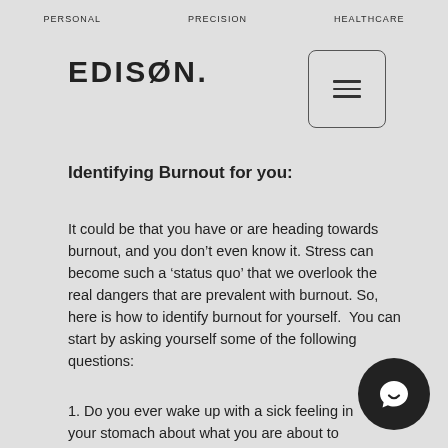PERSONAL   PRECISION   HEALTHCARE
EDIS0N.
Identifying Burnout for you:
It could be that you have or are heading towards burnout, and you don’t even know it. Stress can become such a ‘status quo’ that we overlook the real dangers that are prevalent with burnout. So, here is how to identify burnout for yourself.  You can start by asking yourself some of the following questions:
1. Do you ever wake up with a sick feeling in your stomach about what you are about to